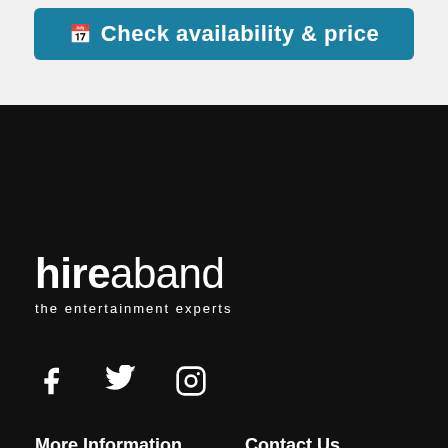[Figure (other): Teal/blue button with calendar icon and text 'Check availability & price']
[Figure (logo): hireaband logo — bold 'hire' and light 'aband' in white on black, with tagline 'the entertainment experts']
[Figure (other): Social media icons: Facebook, Twitter, Instagram in white]
More Information
About Us
Join our Roster
Contact Us
To get in contact with us, use our online email form for your